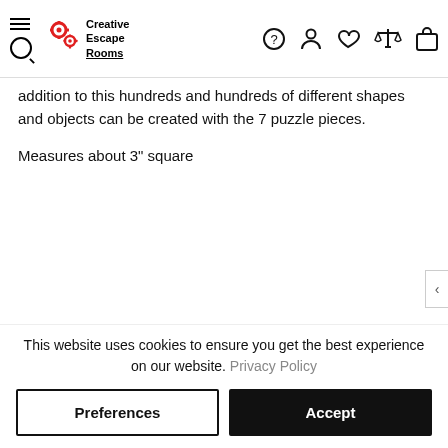Creative Escape Rooms — navigation header with logo and icons
addition to this hundreds and hundreds of different shapes and objects can be created with the 7 puzzle pieces.
Measures about 3" square
CUSTOMIZATION
INTL SHIPPING FAQ
CUSTOMER REVIEWS
This website uses cookies to ensure you get the best experience on our website. Privacy Policy